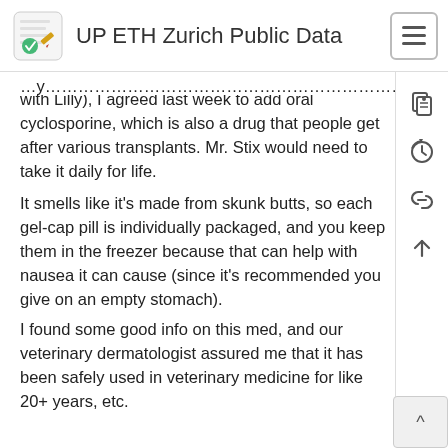UP ETH Zurich Public Data
with Lilly), I agreed last week to add oral cyclosporine, which is also a drug that people get after various transplants. Mr. Stix would need to take it daily for life.
It smells like it's made from skunk butts, so each gel-cap pill is individually packaged, and you keep them in the freezer because that can help with nausea it can cause (since it's recommended you give on an empty stomach).
I found some good info on this med, and our veterinary dermatologist assured me that it has been safely used in veterinary medicine for like 20+ years, etc.
The med only comes in doses of 25 mg, 50 mg, and 100 mg, and at his size Mr. Stix's ideal dose is around 88 mg once a day. So we went with 75 mg (25+50) to err on the lower side.
It takes like 3-7 days for the med to build up in the blood to therapeutic levels, but it takes more like 4-6 weeks to know if it's going to help the skin (or not).